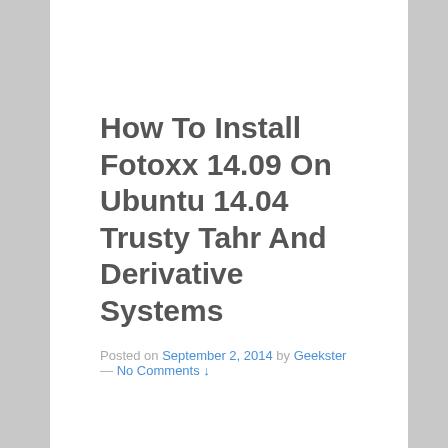How To Install Fotoxx 14.09 On Ubuntu 14.04 Trusty Tahr And Derivative Systems
Posted on September 2, 2014 by Geekster — No Comments ↓